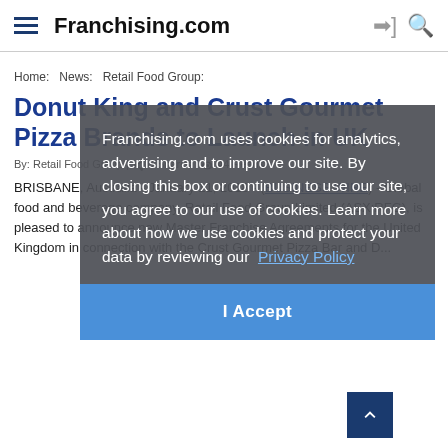Franchising.com
Home: News: Retail Food Group:
Donut King and Crust Gourmet Pizza Brands to Launch in UK
By: Retail Food Group | 0 Shares  44 Reads
BRISBANE, Australia - January 11, 2018 - (BUSINESS WIRE) - Global food and beverage company, Retail Food Group Limited (ASX:RFG), is pleased to announce new Master Franchise Agreements for the United Kingdom in connection with the Crust Gourmet Pizza Bar and D...
[Figure (screenshot): Cookie consent overlay dialog with text: 'Franchising.com uses cookies for analytics, advertising and to improve our site. By closing this box or continuing to use our site, you agree to our use of cookies. Learn more about how we use cookies and protect your data by reviewing our Privacy Policy' and an 'I Accept' button.]